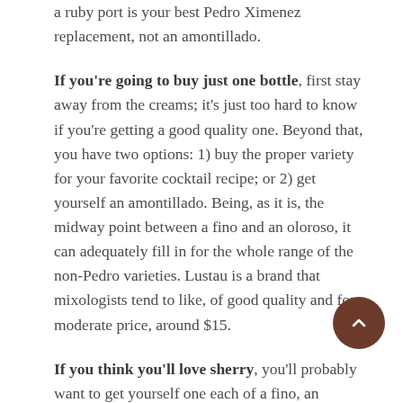a ruby port is your best Pedro Ximenez replacement, not an amontillado.
If you're going to buy just one bottle, first stay away from the creams; it's just too hard to know if you're getting a good quality one. Beyond that, you have two options: 1) buy the proper variety for your favorite cocktail recipe; or 2) get yourself an amontillado. Being, as it is, the midway point between a fino and an oloroso, it can adequately fill in for the whole range of the non-Pedro varieties. Lustau is a brand that mixologists tend to like, of good quality and for a moderate price, around $15.
If you think you'll love sherry, you'll probably want to get yourself one each of a fino, an amontillado, and an oloroso–